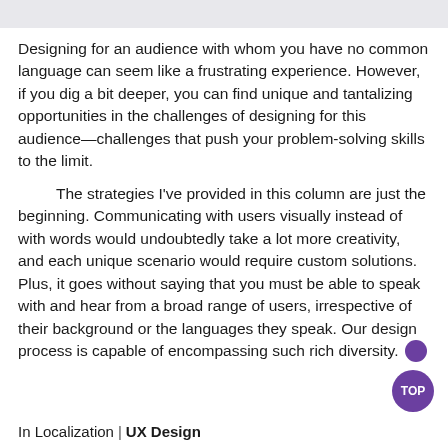[Figure (other): Gray banner/header bar at the top of the page]
Designing for an audience with whom you have no common language can seem like a frustrating experience. However, if you dig a bit deeper, you can find unique and tantalizing opportunities in the challenges of designing for this audience—challenges that push your problem-solving skills to the limit.
The strategies I've provided in this column are just the beginning. Communicating with users visually instead of with words would undoubtedly take a lot more creativity, and each unique scenario would require custom solutions. Plus, it goes without saying that you must be able to speak with and hear from a broad range of users, irrespective of their background or the languages they speak. Our design process is capable of encompassing such rich diversity. [UX badge]
In Localization | UX Design